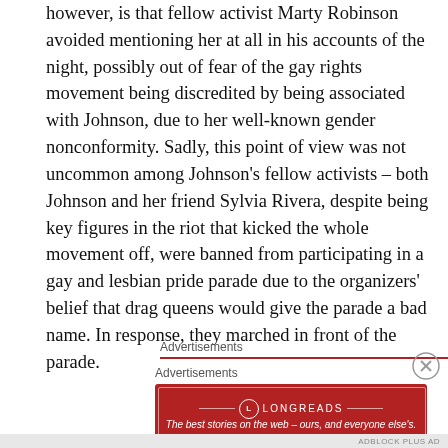however, is that fellow activist Marty Robinson avoided mentioning her at all in his accounts of the night, possibly out of fear of the gay rights movement being discredited by being associated with Johnson, due to her well-known gender nonconformity. Sadly, this point of view was not uncommon among Johnson's fellow activists – both Johnson and her friend Sylvia Rivera, despite being key figures in the riot that kicked the whole movement off, were banned from participating in a gay and lesbian pride parade due to the organizers' belief that drag queens would give the parade a bad name. In response, they marched in front of the parade.
Advertisements
Advertisements
[Figure (logo): Longreads advertisement banner in dark red with logo and tagline: The best stories on the web – ours, and everyone else's.]
ADBLOCK PLUS AD